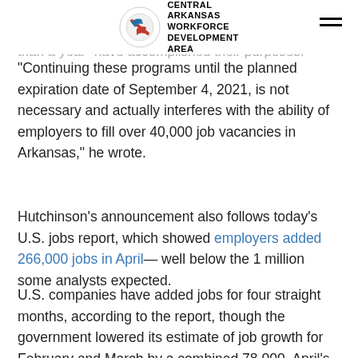CENTRAL ARKANSAS WORKFORCE DEVELOPMENT AREA
level. He said he's "confident" that the federal unemployment help that's been in place for more than a year "have accomplished their purposes."
"Continuing these programs until the planned expiration date of September 4, 2021, is not necessary and actually interferes with the ability of employers to fill over 40,000 job vacancies in Arkansas," he wrote.
Hutchinson's announcement also follows today's U.S. jobs report, which showed employers added 266,000 jobs in April— well below the 1 million some analysts expected.
U.S. companies have added jobs for four straight months, according to the report, though the government lowered its estimate of job growth for February and March by a combined 78,000. April's